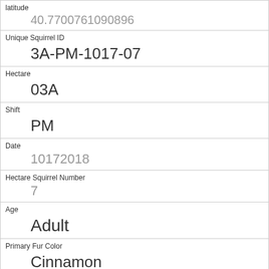| latitude | 40.7700761090896 |
| Unique Squirrel ID | 3A-PM-1017-07 |
| Hectare | 03A |
| Shift | PM |
| Date | 10172018 |
| Hectare Squirrel Number | 7 |
| Age | Adult |
| Primary Fur Color | Cinnamon |
| Highlight Fur Color | White |
| Combination of Primary and Highlight Color | Cinnamon+White |
| Color notes |  |